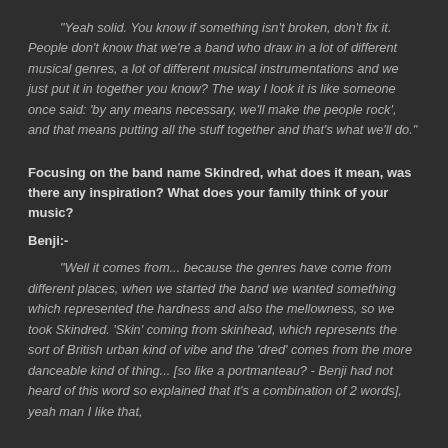"Yeah solid. You know if something isn't broken, don't fix it. People don't know that we're a band who draw in a lot of different musical genres, a lot of different musical instrumentations and we just put it in together you know? The way I look it is like someone once said: 'by any means necessary, we'll make the people rock', and that means putting all the stuff together and that's what we'll do."
Focusing on the band name Skindred, what does it mean, was there any inspiration? What does your family think of your music?
Benji:-
"Well it comes from... because the genres have come from different places, when we started the band we wanted something which represented the hardness and also the mellowness, so we took Skindred. 'Skin' coming from skinhead, which represents the sort of British urban kind of vibe and the 'dred' comes from the more danceable kind of thing... [so like a portmanteau? - Benji had not heard of this word so explained that it's a combination of 2 words], yeah man I like that,